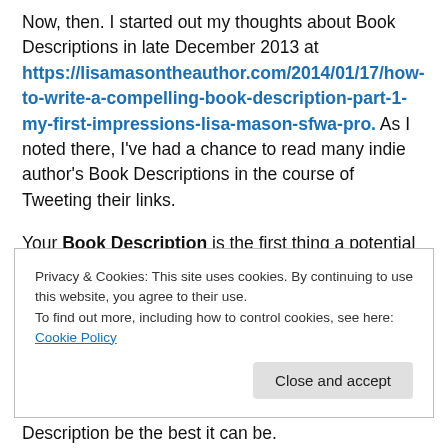Now, then. I started out my thoughts about Book Descriptions in late December 2013 at https://lisamasontheauthor.com/2014/01/17/how-to-write-a-compelling-book-description-part-1-my-first-impressions-lisa-mason-sfwa-pro. As I noted there, I've had a chance to read many indie author's Book Descriptions in the course of Tweeting their links.
Your Book Description is the first thing a potential reader sees when he or she goes to your book's product page. If you've also got a print book, you'll insert your Book
Privacy & Cookies: This site uses cookies. By continuing to use this website, you agree to their use.
To find out more, including how to control cookies, see here: Cookie Policy
Description be the best it can be.